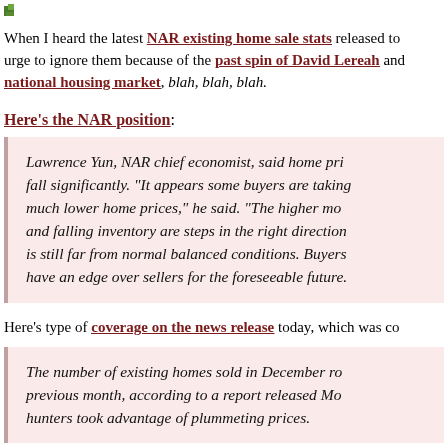[Figure (logo): Small logo/icon image in top left corner]
When I heard the latest NAR existing home sale stats released to... urge to ignore them because of the past spin of David Lereah and... national housing market, blah, blah, blah.
Here's the NAR position:
Lawrence Yun, NAR chief economist, said home pri... fall significantly. "It appears some buyers are taking... much lower home prices," he said. "The higher mo... and falling inventory are steps in the right direction... is still far from normal balanced conditions. Buyers... have an edge over sellers for the foreseeable future.
Here's type of coverage on the news release today, which was co...
The number of existing homes sold in December ro... previous month, according to a report released Mo... hunters took advantage of plummeting prices.